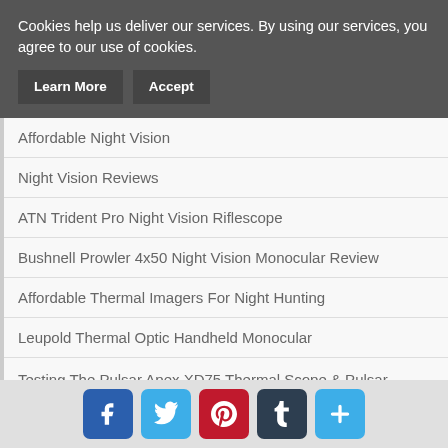Cookies help us deliver our services. By using our services, you agree to our use of cookies.
Learn More | Accept
Affordable Night Vision
Night Vision Reviews
ATN Trident Pro Night Vision Riflescope
Bushnell Prowler 4x50 Night Vision Monocular Review
Affordable Thermal Imagers For Night Hunting
Leupold Thermal Optic Handheld Monocular
Testing The Pulsar Apex XD75 Thermal Scope & Pulsar Quantum XD50S Thermal Monocular Night Vision
Night Hunting Using Night Vision and Thermals
[Figure (infographic): Social media share buttons: Facebook (blue), Twitter (light blue), Pinterest (red), Tumblr (dark blue/teal), plus/more (light blue)]